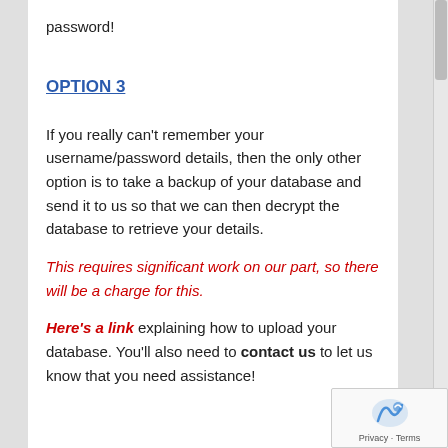password!
OPTION 3
If you really can't remember your username/password details, then the only other option is to take a backup of your database and send it to us so that we can then decrypt the database to retrieve your details.
This requires significant work on our part, so there will be a charge for this.
Here's a link explaining how to upload your database. You'll also need to contact us to let us know that you need assistance!